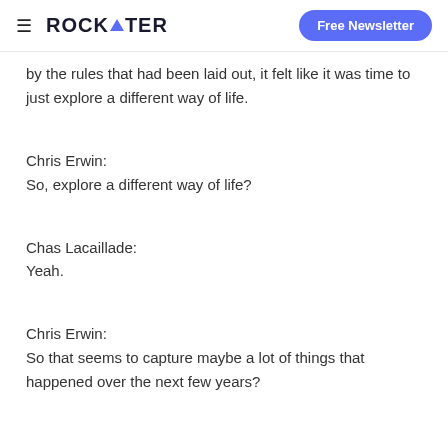ROCKWATER | Free Newsletter
by the rules that had been laid out, it felt like it was time to just explore a different way of life.
Chris Erwin:
So, explore a different way of life?
Chas Lacaillade:
Yeah.
Chris Erwin:
So that seems to capture maybe a lot of things that happened over the next few years?